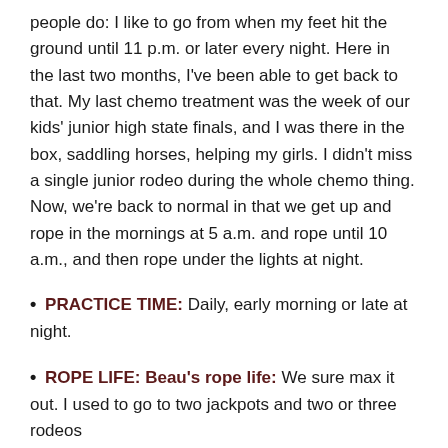people do: I like to go from when my feet hit the ground until 11 p.m. or later every night. Here in the last two months, I've been able to get back to that. My last chemo treatment was the week of our kids' junior high state finals, and I was there in the box, saddling horses, helping my girls. I didn't miss a single junior rodeo during the whole chemo thing. Now, we're back to normal in that we get up and rope in the mornings at 5 a.m. and rope until 10 a.m., and then rope under the lights at night.
• PRACTICE TIME: Daily, early morning or late at night.
• ROPE LIFE: Beau's rope life: We sure max it out. I used to go to two jackpots and two or three rodeos